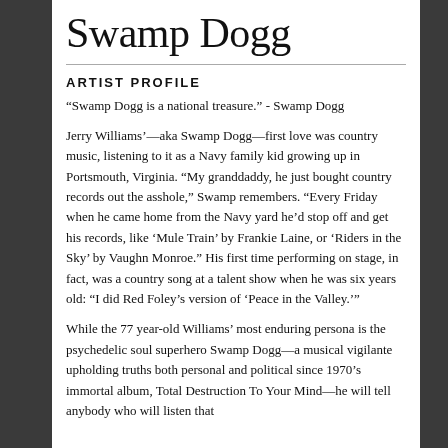Swamp Dogg
ARTIST PROFILE
“Swamp Dogg is a national treasure.” - Swamp Dogg
Jerry Williams’—aka Swamp Dogg—first love was country music, listening to it as a Navy family kid growing up in Portsmouth, Virginia. “My granddaddy, he just bought country records out the asshole,” Swamp remembers. “Every Friday when he came home from the Navy yard he’d stop off and get his records, like ‘Mule Train’ by Frankie Laine, or ‘Riders in the Sky’ by Vaughn Monroe.” His first time performing on stage, in fact, was a country song at a talent show when he was six years old: “I did Red Foley’s version of ‘Peace in the Valley.’”
While the 77 year-old Williams’ most enduring persona is the psychedelic soul superhero Swamp Dogg—a musical vigilante upholding truths both personal and political since 1970’s immortal album, Total Destruction To Your Mind—he will tell anybody who will listen that